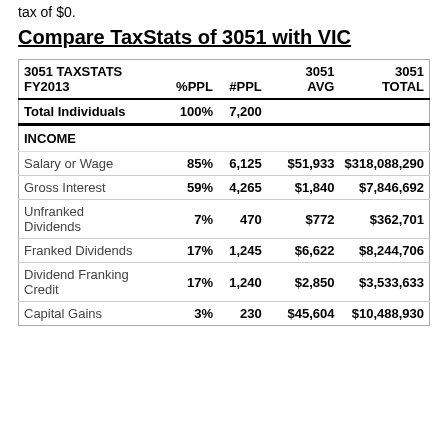tax of $0.
Compare TaxStats of 3051 with VIC
| 3051 TAXSTATS FY2013 | %PPL | #PPL | 3051 AVG | 3051 TOTAL |
| --- | --- | --- | --- | --- |
| Total Individuals | 100% | 7,200 |  |  |
| INCOME |  |  |  |  |
| Salary or Wage | 85% | 6,125 | $51,933 | $318,088,290 |
| Gross Interest | 59% | 4,265 | $1,840 | $7,846,692 |
| Unfranked Dividends | 7% | 470 | $772 | $362,701 |
| Franked Dividends | 17% | 1,245 | $6,622 | $8,244,706 |
| Dividend Franking Credit | 17% | 1,240 | $2,850 | $3,533,633 |
| Capital Gains | 3% | 230 | $45,604 | $10,488,930 |